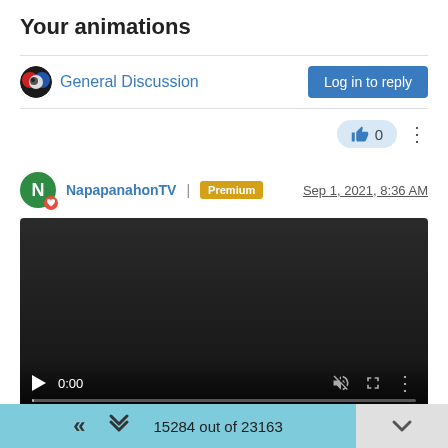Your animations
General Discussion
Log in to reply
0
NapapanahonTV | Premium  Sep 1, 2021, 8:36 AM
[Figure (screenshot): Embedded video player showing a dark/black video with playback controls at the bottom: play button, time 0:00, muted icon, fullscreen icon, more options icon, and a progress bar.]
To download this video just click with right mouse button on this link and select "Save link as..."
15284 out of 23163